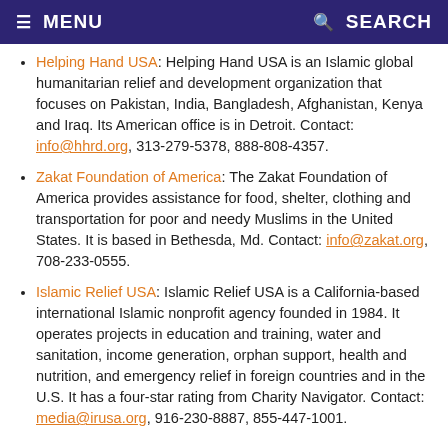≡ MENU   🔍 SEARCH
Helping Hand USA: Helping Hand USA is an Islamic global humanitarian relief and development organization that focuses on Pakistan, India, Bangladesh, Afghanistan, Kenya and Iraq. Its American office is in Detroit. Contact: info@hhrd.org, 313-279-5378, 888-808-4357.
Zakat Foundation of America: The Zakat Foundation of America provides assistance for food, shelter, clothing and transportation for poor and needy Muslims in the United States. It is based in Bethesda, Md. Contact: info@zakat.org, 708-233-0555.
Islamic Relief USA: Islamic Relief USA is a California-based international Islamic nonprofit agency founded in 1984. It operates projects in education and training, water and sanitation, income generation, orphan support, health and nutrition, and emergency relief in foreign countries and in the U.S. It has a four-star rating from Charity Navigator. Contact: media@irusa.org, 916-230-8887, 855-447-1001.